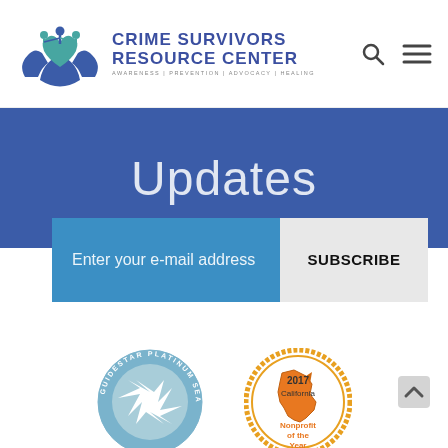Crime Survivors Resource Center — AWARENESS | PREVENTION | ADVOCACY | HEALING
Updates
Enter your e-mail address
SUBSCRIBE
[Figure (logo): GuideStar Platinum Seal of Transparency badge]
[Figure (logo): 2017 California Nonprofit of the Year badge with California map icon]